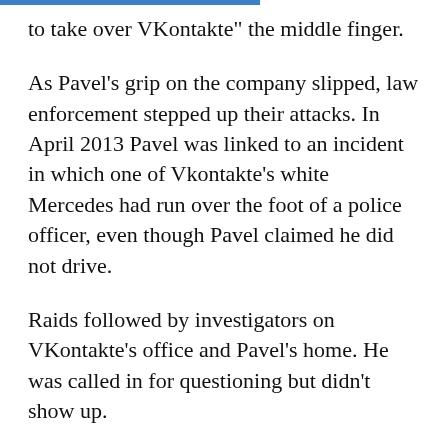to take over VKontakte" the middle finger.
As Pavel's grip on the company slipped, law enforcement stepped up their attacks. In April 2013 Pavel was linked to an incident in which one of Vkontakte's white Mercedes had run over the foot of a police officer, even though Pavel claimed he did not drive.
Raids followed by investigators on VKontakte's office and Pavel's home. He was called in for questioning but didn't show up.
Days after the incident, United Capital Partners, a fund run by financier Ilya Sherbovich who had